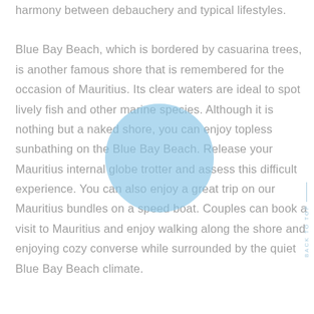harmony between debauchery and typical lifestyles.
Blue Bay Beach, which is bordered by casuarina trees, is another famous shore that is remembered for the occasion of Mauritius. Its clear waters are ideal to spot lively fish and other marine species. Although it is nothing but a naked shore, you can enjoy topless sunbathing on the Blue Bay Beach. Release your Mauritius internal globe trotter and assess this difficult experience. You can also enjoy a great trip on our Mauritius bundles on a speed boat. Couples can book a visit to Mauritius and enjoy walking along the shore and enjoying cozy converse while surrounded by the quiet Blue Bay Beach climate.